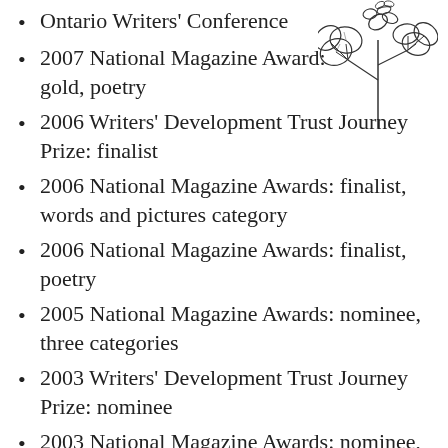Ontario Writers' Conference
2007 National Magazine Award: gold, poetry
2006 Writers' Development Trust Journey Prize: finalist
2006 National Magazine Awards: finalist, words and pictures category
2006 National Magazine Awards: finalist, poetry
2005 National Magazine Awards: nominee, three categories
2003 Writers' Development Trust Journey Prize: nominee
2003 National Magazine Awards: nominee, poetry
2002 National Magazine Awards: silver, personal essay (Eric Ormsby, Descant
[Figure (illustration): Black and white line drawing of a flowering plant with clover-like leaves and a bee at the top]